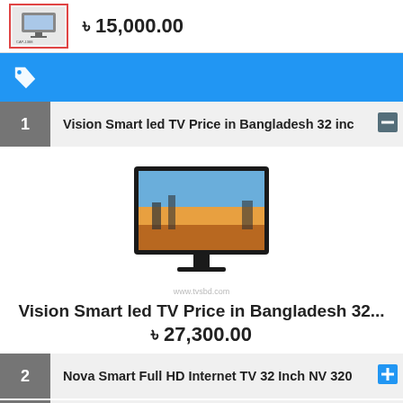[Figure (photo): Small product image thumbnail with red border]
৳ 15,000.00
[Figure (infographic): Blue banner bar with white price tag icon]
1  Vision Smart led TV Price in Bangladesh 32 inc [minus button]
[Figure (photo): Vision Smart LED TV product photo, a flat screen TV on stands, with watermark www.tvsbd.com]
Vision Smart led TV Price in Bangladesh 32...
৳ 27,300.00
2  Nova Smart Full HD Internet TV 32 Inch NV 320 [plus button]
3  Diesel Generator 5KVA to 200OKVA [plus button]